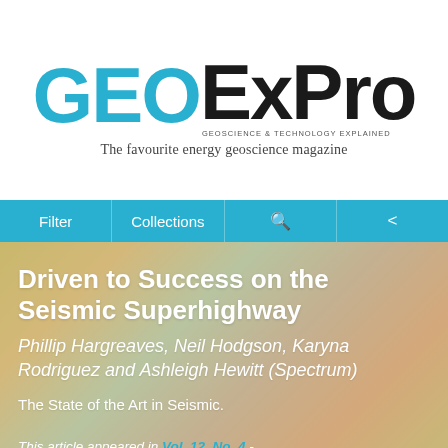[Figure (logo): GEOExPro magazine logo with blue GEO and black ExPro text, tagline below]
The favourite energy geoscience magazine
[Figure (other): Navigation bar with Filter, Collections, search icon, and share icon buttons on cyan background]
Driven to Success on the Seismic Superhighway
Phillip Hargreaves, Neil Hodgson, Karyna Rodriguez and Ashleigh Hewitt (Spectrum)
The State of the Art in Seismic.
This article appeared in Vol. 12, No. 4 - 2015